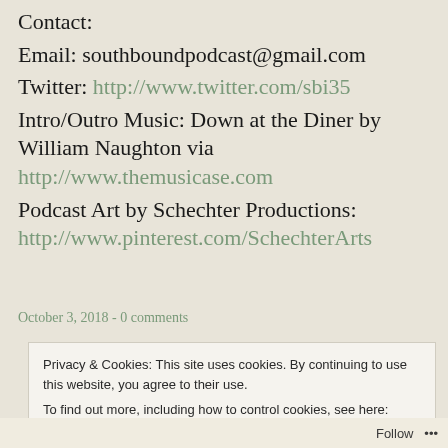Contact:
Email: southboundpodcast@gmail.com
Twitter: http://www.twitter.com/sbi35
Intro/Outro Music: Down at the Diner by William Naughton via http://www.themusicase.com
Podcast Art by Schechter Productions: http://www.pinterest.com/SchechterArts
October 3, 2018 - 0 comments
Privacy & Cookies: This site uses cookies. By continuing to use this website, you agree to their use. To find out more, including how to control cookies, see here: Cookie Policy
Close and accept
Follow